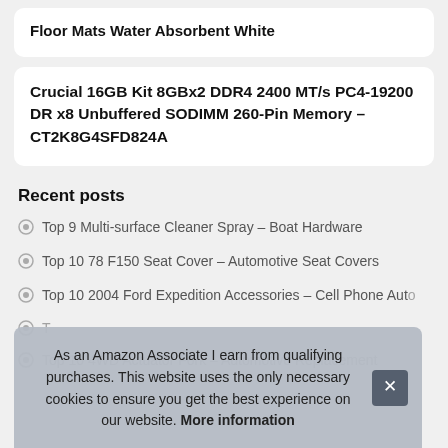Floor Mats Water Absorbent White
Crucial 16GB Kit 8GBx2 DDR4 2400 MT/s PC4-19200 DR x8 Unbuffered SODIMM 260-Pin Memory – CT2K8G4SFD824A
Recent posts
Top 9 Multi-surface Cleaner Spray – Boat Hardware
Top 10 78 F150 Seat Cover – Automotive Seat Covers
Top 10 2004 Ford Expedition Accessories – Cell Phone Auto
T... Part...
Top 10 4WD Actuator Fork – Automotive Replacement
As an Amazon Associate I earn from qualifying purchases. This website uses the only necessary cookies to ensure you get the best experience on our website. More information